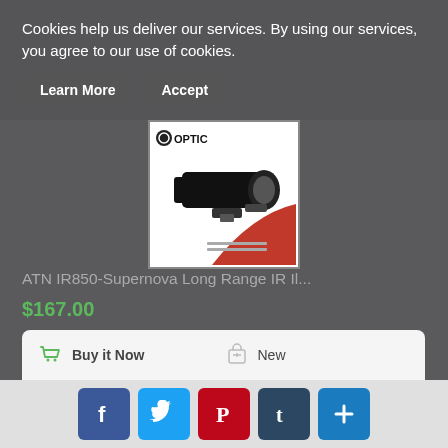Cookies help us deliver our services. By using our services, you agree to our use of cookies.
Learn More | Accept
[Figure (photo): Product image of ATN IR850-Supernova Long Range IR Illuminator on white/red background with Optic logo]
ATN IR850-Supernova Long Range IR Il...
$167.00
Buy it Now
New
28 Day(s) 2 h(s)
Worldwide
1 day
Easy Returns
Facebook | Twitter | Pinterest | Tumblr | Share